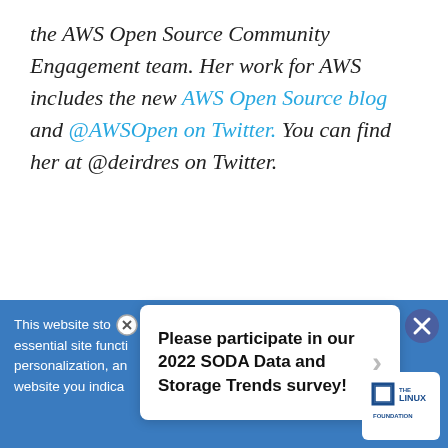the AWS Open Source Community Engagement team. Her work for AWS includes the new AWS Open Source blog and @AWSOpen on Twitter. You can find her at @deirdres on Twitter.
DECEMBER 18, 2017 / BY PAM BAKER
Linux Kernel
This website stores cookies to enable essential site functionality, as well as personalization, and by using this website you indicate...
Please participate in our 2022 SODA Data and Storage Trends survey!
[Figure (logo): The Linux Foundation logo]